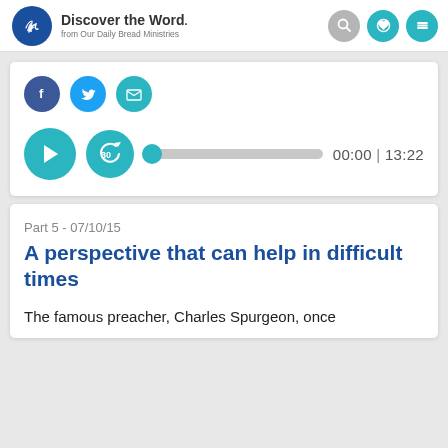Discover the Word. from Our Daily Bread Ministries
[Figure (infographic): Social sharing icons: Facebook (blue circle), Twitter (light blue circle), Email (teal circle)]
[Figure (infographic): Audio player with play button (teal circle with triangle), rewind 30s button (teal circle), progress bar with dot at start, time display 00:00 | 13:22]
Part 5 - 07/10/15
A perspective that can help in difficult times
The famous preacher, Charles Spurgeon, once